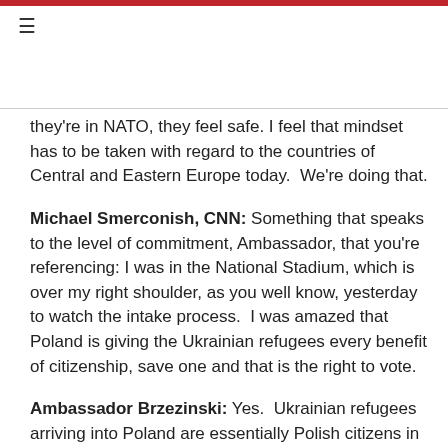≡
they're in NATO, they feel safe. I feel that mindset has to be taken with regard to the countries of Central and Eastern Europe today.  We're doing that.
Michael Smerconish, CNN: Something that speaks to the level of commitment, Ambassador, that you're referencing: I was in the National Stadium, which is over my right shoulder, as you well know, yesterday to watch the intake process.  I was amazed that Poland is giving the Ukrainian refugees every benefit of citizenship, save one and that is the right to vote.
Ambassador Brzezinski: Yes.  Ukrainian refugees arriving into Poland are essentially Polish citizens in the sense that they have a place to stay; they have a PESEL number,